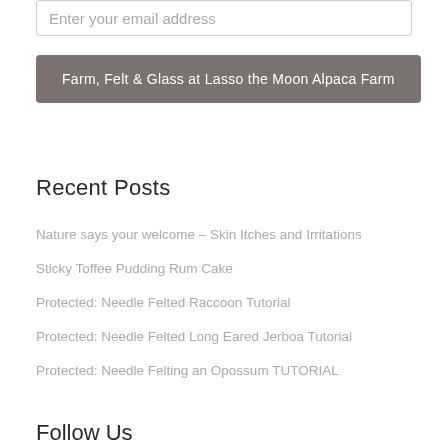Enter your email address
Farm, Felt & Glass at Lasso the Moon Alpaca Farm
Recent Posts
Nature says your welcome – Skin Itches and Irritations
Sticky Toffee Pudding Rum Cake
Protected: Needle Felted Raccoon Tutorial
Protected: Needle Felted Long Eared Jerboa Tutorial
Protected: Needle Felting an Opossum TUTORIAL
Follow Us